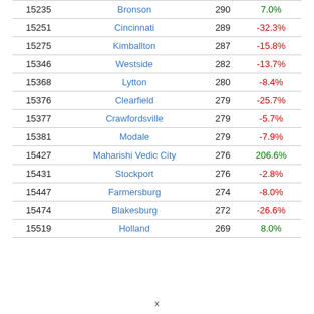|  | City | Population | Change |
| --- | --- | --- | --- |
| 15235 | Bronson | 290 | 7.0% |
| 15251 | Cincinnati | 289 | -32.3% |
| 15275 | Kimballton | 287 | -15.8% |
| 15346 | Westside | 282 | -13.7% |
| 15368 | Lytton | 280 | -8.4% |
| 15376 | Clearfield | 279 | -25.7% |
| 15377 | Crawfordsville | 279 | -5.7% |
| 15381 | Modale | 279 | -7.9% |
| 15427 | Maharishi Vedic City | 276 | 206.6% |
| 15431 | Stockport | 276 | -2.8% |
| 15447 | Farmersburg | 274 | -8.0% |
| 15474 | Blakesburg | 272 | -26.6% |
| 15519 | Holland | 269 | 8.0% |
x